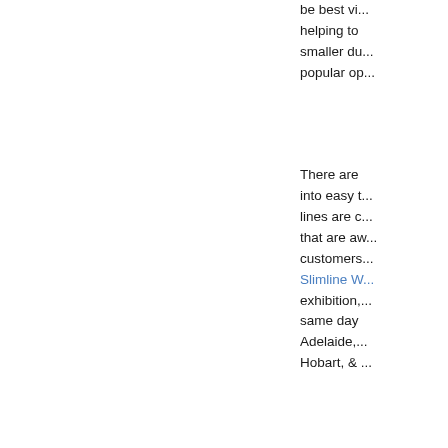be best vi... helping to... smaller du... popular op...
There are... into easy t... lines are c... that are av... customers... Slimline W... exhibition,... same day... Adelaide, ... Hobart, & ...